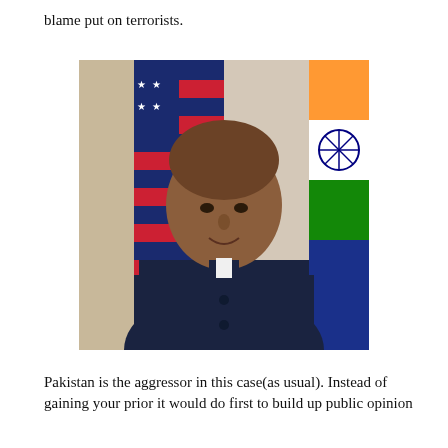blame put on terrorists.
[Figure (photo): Portrait photograph of a man in a dark navy Nehru jacket, standing in front of an American flag on the left and an Indian flag on the right. The man is middle-aged, bald, and smiling slightly.]
Pakistan is the aggressor in this case(as usual). Instead of gaining your prior it would do first to build up public opinion